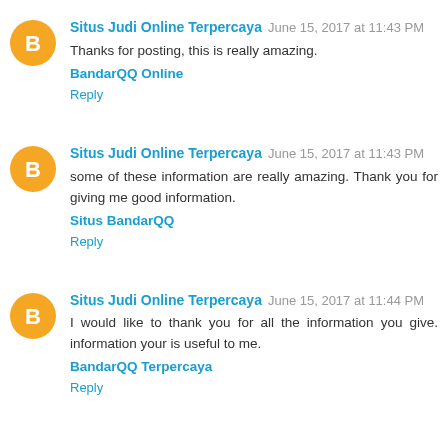Situs Judi Online Terpercaya June 15, 2017 at 11:43 PM
Thanks for posting, this is really amazing.
BandarQQ Online
Reply
Situs Judi Online Terpercaya June 15, 2017 at 11:43 PM
some of these information are really amazing. Thank you for giving me good information.
Situs BandarQQ
Reply
Situs Judi Online Terpercaya June 15, 2017 at 11:44 PM
I would like to thank you for all the information you give. information your is useful to me.
BandarQQ Terpercaya
Reply